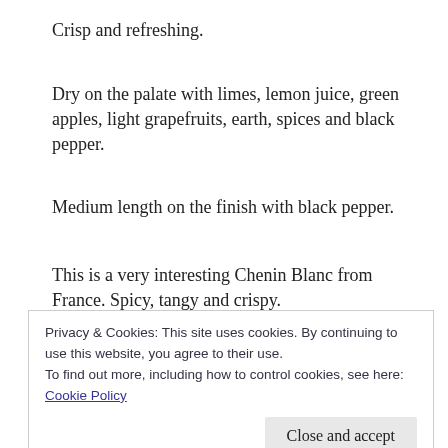Crisp and refreshing.
Dry on the palate with limes, lemon juice, green apples, light grapefruits, earth, spices and black pepper.
Medium length on the finish with black pepper.
This is a very interesting Chenin Blanc from France. Spicy, tangy and crispy.
Easy drinking and good for parties. Good by itself and
Privacy & Cookies: This site uses cookies. By continuing to use this website, you agree to their use.
To find out more, including how to control cookies, see here: Cookie Policy
100% Chenin Blanc grapes were hand harvested and